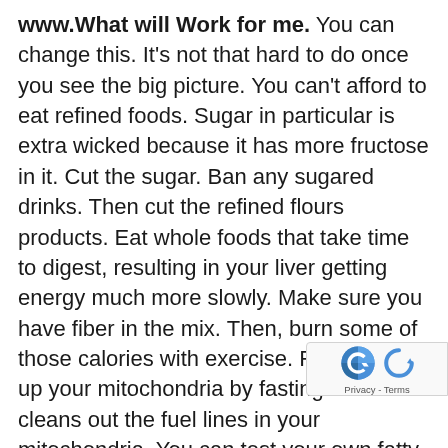www.What will Work for me. You can change this. It's not that hard to do once you see the big picture. You can't afford to eat refined foods. Sugar in particular is extra wicked because it has more fructose in it. Cut the sugar. Ban any sugared drinks. Then cut the refined flours products. Eat whole foods that take time to digest, resulting in your liver getting energy much more slowly. Make sure you have fiber in the mix. Then, burn some of those calories with exercise. Finally, free up your mitochondria by fasting. That cleans out the fuel lines in your mitochondria. You can test your own fatty liver by getting an SGPT or ALT. If it's over 25, you probably have fatty liver. If your AST or SGOT is up, you need a GGT test and if it's up, you really need to get an evaluation of your fatty liver. And you need to get off sugar, asap. Do all those. You can send me an email in about, let's say, 3 months telling me your fatty liver is better. Get your AST...